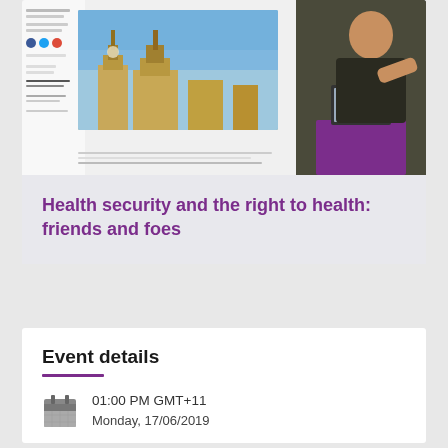[Figure (screenshot): Screenshot of a news article webpage showing an image of the Houses of Parliament (Big Ben) and a photo of a man speaking at a lectern with a laptop]
Health security and the right to health: friends and foes
Event details
01:00 PM GMT+11
Monday, 17/06/2019